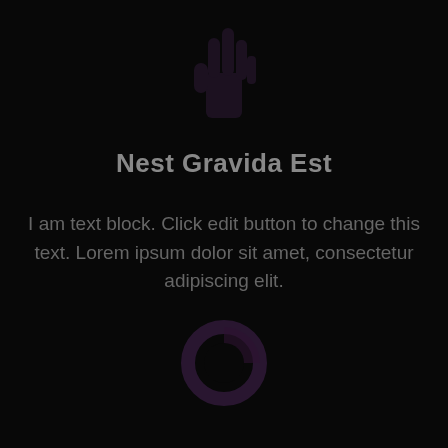[Figure (illustration): Faint dark purple icon resembling a pointing hand or cursor at the top center of the page]
Nest Gravida Est
I am text block. Click edit button to change this text. Lorem ipsum dolor sit amet, consectetur adipiscing elit.
[Figure (illustration): Faint dark purple icon resembling a pie chart or donut chart at the bottom center of the page]